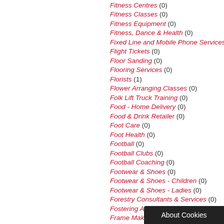Fitness Centres (0)
Fitness Classes (0)
Fitness Equipment (0)
Fitness, Dance & Health (0)
Fixed Line and Mobile Phone Services (…)
Flight Tickets (0)
Floor Sanding (0)
Flooring Services (0)
Florists (1)
Flower Arranging Classes (0)
Folk Lift Truck Training (0)
Food - Home Delivery (0)
Food & Drink Retailer (0)
Foot Care (0)
Foot Health (0)
Football (0)
Football Clubs (0)
Football Coaching (0)
Footwear & Shoes (0)
Footwear & Shoes - Children (0)
Footwear & Shoes - Ladies (0)
Forestry Consultants & Services (0)
Fostering Agencies (0)
Frame Makers (0)
Framed Prints (0)
Fratton Road (0)
Free Range Eggs (0)
Freelance Editorial Services (0)
Freestanding baths (0)
Freight Forwarders (0…)